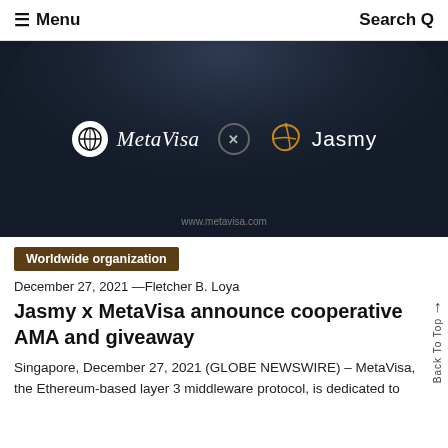≡ Menu   Search Q
[Figure (illustration): Dark background hero image showing MetaVisa logo (globe icon + italic text) and Jasmy logo (orange leaf icon + text) separated by an X in a circle. URL www.metavisa.com shown at bottom.]
Worldwide organization
December 27, 2021 —Fletcher B. Loya
Jasmy x MetaVisa announce cooperative AMA and giveaway
Singapore, December 27, 2021 (GLOBE NEWSWIRE) – MetaVisa, the Ethereum-based layer 3 middleware protocol, is dedicated to